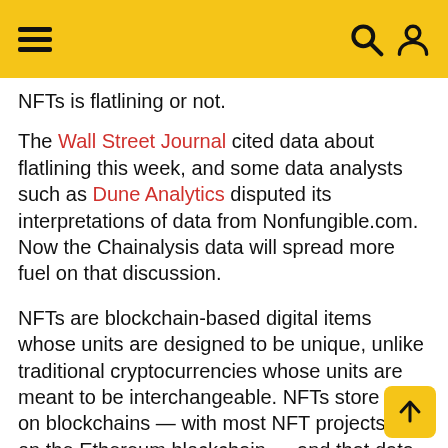≡  🔍 👤
NFTs is flatlining or not.
The Wall Street Journal cited data about flatlining this week, and some data analysts such as Dune Analytics disputed its interpretations of data from Nonfungible.com. Now the Chainalysis data will spread more fuel on that discussion.
NFTs are blockchain-based digital items whose units are designed to be unique, unlike traditional cryptocurrencies whose units are meant to be interchangeable. NFTs store data on blockchains — with most NFT projects built on the Ethereum blockchain — and that data can be associated with files containing media such as images, videos, and audio, or even in some cases physical objects.
NFTs typically give the holder ownership over the